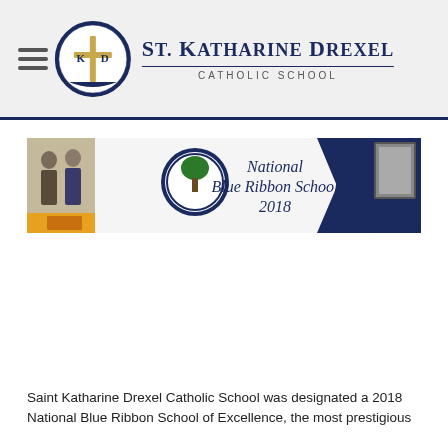St. Katharine Drexel Catholic School
[Figure (photo): Photo of a National Blue Ribbon School 2018 banner hung on a wall, with a seal/emblem visible and partial view of framed pictures on either side.]
Saint Katharine Drexel Catholic School was designated a 2018 National Blue Ribbon School of Excellence, the most prestigious